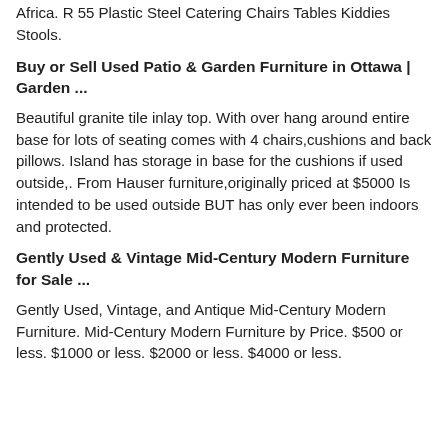Africa. R 55 Plastic Steel Catering Chairs Tables Kiddies Stools.
Buy or Sell Used Patio & Garden Furniture in Ottawa | Garden ...
Beautiful granite tile inlay top. With over hang around entire base for lots of seating comes with 4 chairs,cushions and back pillows. Island has storage in base for the cushions if used outside,. From Hauser furniture,originally priced at $5000 Is intended to be used outside BUT has only ever been indoors and protected.
Gently Used & Vintage Mid-Century Modern Furniture for Sale ...
Gently Used, Vintage, and Antique Mid-Century Modern Furniture. Mid-Century Modern Furniture by Price. $500 or less. $1000 or less. $2000 or less. $4000 or less.